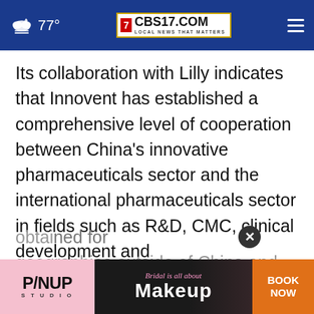77° CBS17.COM LOCAL NEWS THAT MATTERS
Its collaboration with Lilly indicates that Innovent has established a comprehensive level of cooperation between China's innovative pharmaceuticals sector and the international pharmaceuticals sector in fields such as R&D, CMC, clinical development and commercialization. In August 2020, Lilly and Innovent announced a global expansion of their strategic alliance for sintilimab, where Lilly obtained ... for geographies outside of China and plans to
[Figure (screenshot): Advertisement banner for P/NUP Studio with text 'Bridal is all about Makeup' and a 'BOOK NOW' button in orange]